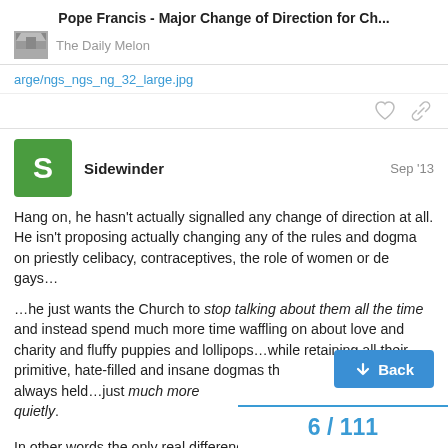Pope Francis - Major Change of Direction for Ch... | The Daily Melon
arge/ngs_ngs_ng_32_large.jpg
Sidewinder  Sep '13
Hang on, he hasn't actually signalled any change of direction at all. He isn't proposing actually changing any of the rules and dogma on priestly celibacy, contraceptives, the role of women or de gays…

…he just wants the Church to stop talking about them all the time and instead spend much more time waffling on about love and charity and fluffy puppies and lollipops…while retaining all their primitive, hate-filled and insane dogmas th always held…just much more quietly.

In other words the only real difference betw